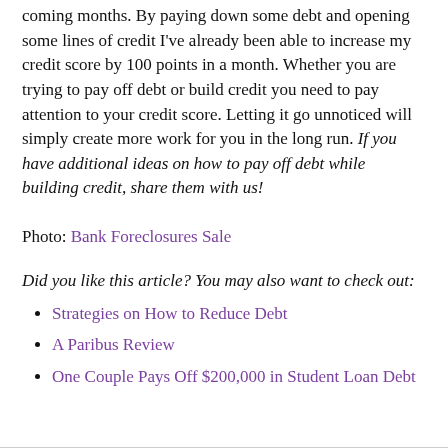coming months. By paying down some debt and opening some lines of credit I've already been able to increase my credit score by 100 points in a month. Whether you are trying to pay off debt or build credit you need to pay attention to your credit score. Letting it go unnoticed will simply create more work for you in the long run. If you have additional ideas on how to pay off debt while building credit, share them with us!
Photo: Bank Foreclosures Sale
Did you like this article? You may also want to check out:
Strategies on How to Reduce Debt
A Paribus Review
One Couple Pays Off $200,000 in Student Loan Debt